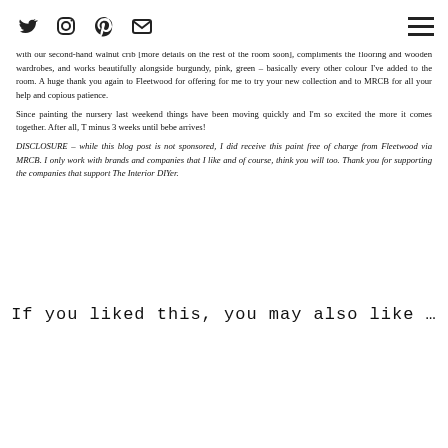[social icons: Twitter, Instagram, Pinterest, Email] [hamburger menu]
with our second-hand walnut crib [more details on the rest of the room soon], compliments the flooring and wooden wardrobes, and works beautifully alongside burgundy, pink, green – basically every other colour I've added to the room. A huge thank you again to Fleetwood for offering for me to try your new collection and to MRCB for all your help and copious patience.
Since painting the nursery last weekend things have been moving quickly and I'm so excited the more it comes together. After all, T minus 3 weeks until bebe arrives!
DISCLOSURE – while this blog post is not sponsored, I did receive this paint free of charge from Fleetwood via MRCB. I only work with brands and companies that I like and of course, think you will too. Thank you for supporting the companies that support The Interior DIYer.
If you liked this, you may also like …